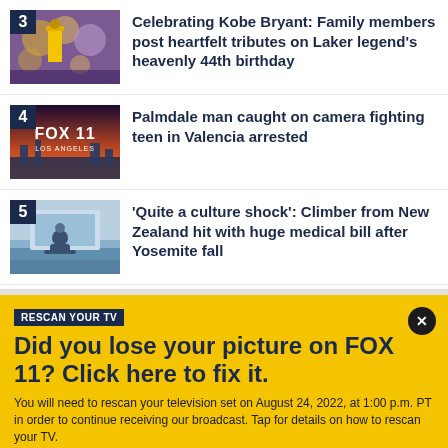[Figure (photo): Thumbnail image for Kobe Bryant article — crowd with purple and gold balloons, basketball player in yellow jersey]
Celebrating Kobe Bryant: Family members post heartfelt tributes on Laker legend's heavenly 44th birthday
[Figure (logo): FOX 11 Los Angeles logo over cityscape at dusk]
Palmdale man caught on camera fighting teen in Valencia arrested
[Figure (photo): Person in wheelchair at airport or medical facility]
'Quite a culture shock': Climber from New Zealand hit with huge medical bill after Yosemite fall
RESCAN YOUR TV
Did you lose your picture on FOX 11? Click here to fix it.
You will need to rescan your television set on August 24, 2022, at 1:00 p.m. PT in order to continue receiving our broadcast. Tap for details on how to rescan your TV.